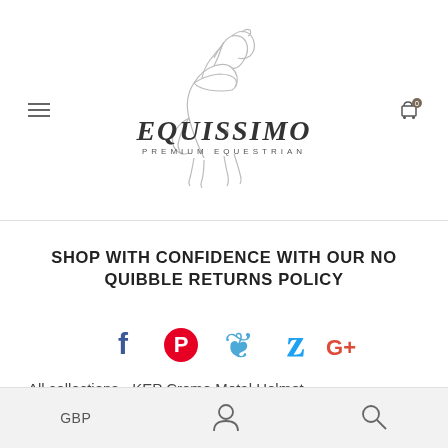[Figure (logo): Equissimo Premium Equestrian logo with a line-art horse illustration above the brand name]
SHOP WITH CONFIDENCE WITH OUR NO QUIBBLE RETURNS POLICY
[Figure (infographic): Social media icons: Facebook, Pinterest, Fancy, Twitter, Google+]
All collections › KEP Cromo Metal Helmet
GBP | Account icon | Search icon